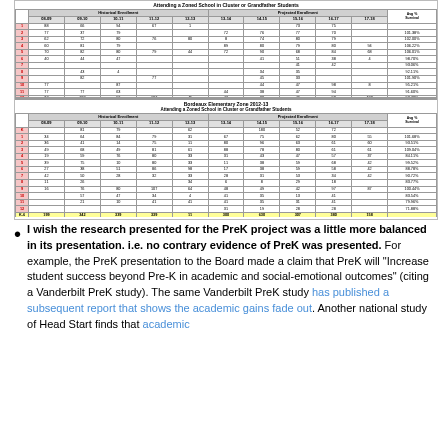[Figure (table-as-image): Two enrollment data tables: upper table (partial, clipped top) and lower table titled 'Bordeaux Elementary Zone 2012-13 Attending a Zoned School in Cluster or Grandfather Students', both showing Historical Enrollment and Projected Enrollment columns by year with grade rows and summary rows.]
I wish the research presented for the PreK project was a little more balanced in its presentation. i.e. no contrary evidence of PreK was presented. For example, the PreK presentation to the Board made a claim that PreK will "Increase student success beyond Pre-K in academic and social-emotional outcomes" (citing a Vanderbilt PreK study). The same Vanderbilt PreK study has published a subsequent report that shows the academic gains fade out. Another national study of Head Start finds that academic